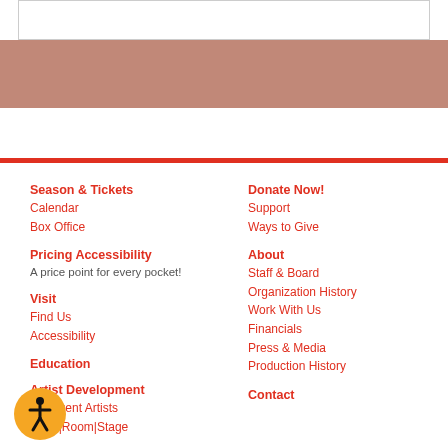[Figure (other): White search/input box at top of page]
[Figure (other): Mauve/rose colored band beneath the top box]
Season & Tickets
Calendar
Box Office
Pricing Accessibility
A price point for every pocket!
Visit
Find Us
Accessibility
Education
Artist Development
Emergent Artists
Table|Room|Stage
Donate Now!
Support
Ways to Give
About
Staff & Board
Organization History
Work With Us
Financials
Press & Media
Production History
Contact
[Figure (other): Accessibility icon - orange circle with wheelchair user figure]